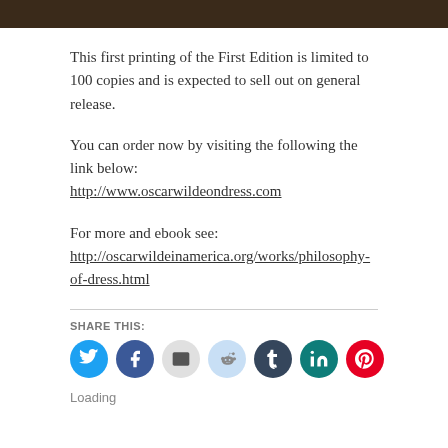[Figure (photo): Partial dark/brown photo bar at the top of the page]
This first printing of the First Edition is limited to 100 copies and is expected to sell out on general release.
You can order now by visiting the following the link below:
http://www.oscarwildeondress.com
For more and ebook see:
http://oscarwildeinamerica.org/works/philosophy-of-dress.html
SHARE THIS:
[Figure (infographic): Row of social media share buttons: Twitter (blue), Facebook (blue), Email (grey), Reddit (light blue), Tumblr (dark blue), LinkedIn (teal), Pinterest (red)]
Loading